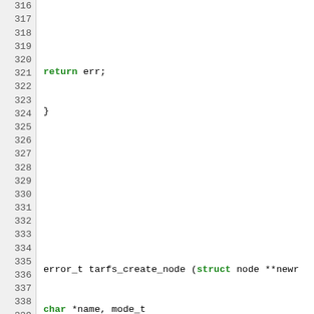[Figure (screenshot): Source code listing in C showing lines 316-345 of a tarfs filesystem implementation. Uses syntax highlighting: green for keywords (struct, char, int, static, assert), blue for comments, red for string literals. Line numbers shown in left gutter on gray background.]